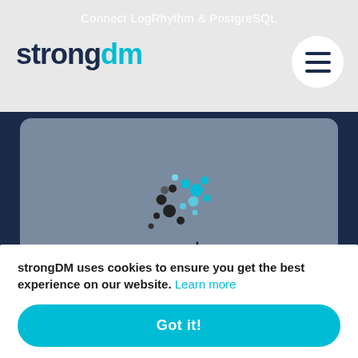Connect LogRhythm & PostgreSQL
[Figure (logo): strongDM logo with dark navy 'strong' text and cyan 'dm' text]
[Figure (logo): Hamburger menu button (three horizontal lines) in a white circle]
[Figure (logo): Presto logo: scattered dot pattern in black and cyan above the word 'presto' in dark text on a gray-blue rounded card]
Connect LogRhythm & Presto
[Figure (logo): Partially visible red rounded rectangle icon (YouTube-like) with white play triangle, on gray-blue rounded card]
strongDM uses cookies to ensure you get the best experience on our website. Learn more
Got it!